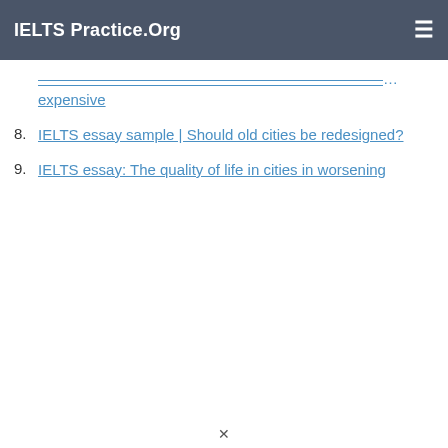IELTS Practice.Org
7. [truncated link] ...g... expensive
8. IELTS essay sample | Should old cities be redesigned?
9. IELTS essay: The quality of life in cities in worsening